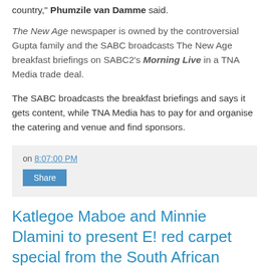country," Phumzile van Damme said.
The New Age newspaper is owned by the controversial Gupta family and the SABC broadcasts The New Age breakfast briefings on SABC2's Morning Live in a TNA Media trade deal.
The SABC broadcasts the breakfast briefings and says it gets content, while TNA Media has to pay for and organise the catering and venue and find sponsors.
on 8:07:00 PM
Share
Katlegoe Maboe and Minnie Dlamini to present E! red carpet special from the South African Music Awards; will E! in its 2nd local try-out come to play ... or